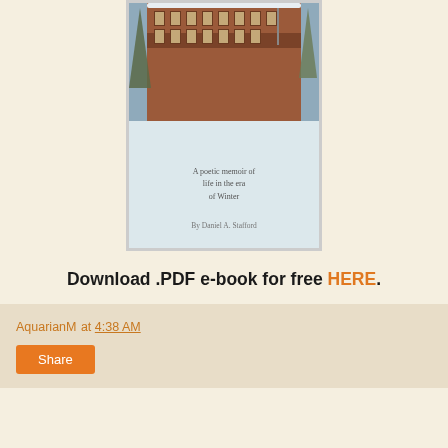[Figure (photo): Book cover photo showing a red brick building covered in snow with trees, overlaid with subtitle text 'A poetic memoir of life in the era of Winter' and 'By Daniel A. Stafford']
Download .PDF e-book for free HERE.
AquarianM at 4:38 AM
Share